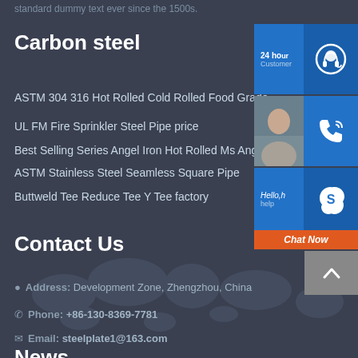standard dummy text ever since the 1500s.
Carbon steel
ASTM 304 316 Hot Rolled Cold Rolled Food Grade UL FM Fire Sprinkler Steel Pipe price
Best Selling Series Angel Iron Hot Rolled Ms Angle
ASTM Stainless Steel Seamless Square Pipe
Buttweld Tee Reduce Tee Y Tee factory
Contact Us
Address: Development Zone, Zhengzhou, China
Phone: +86-130-8369-7781
Email: steelplate1@163.com
News
[Figure (infographic): Customer service widget panel on right side with support icon, phone icon, Skype icon, and Chat Now button]